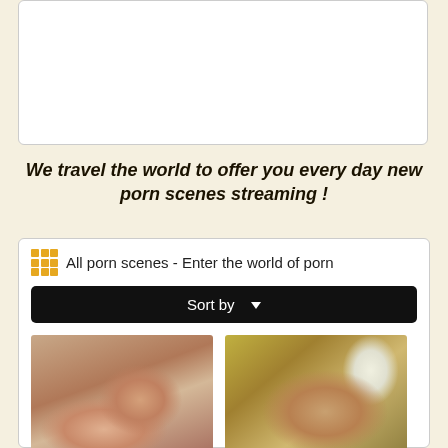[Figure (other): White box/advertisement area at top of page]
We travel the world to offer you every day new porn scenes streaming !
All porn scenes - Enter the world of porn
[Figure (other): Sort by dropdown button bar]
[Figure (photo): Thumbnail photo 1]
[Figure (photo): Thumbnail photo 2]